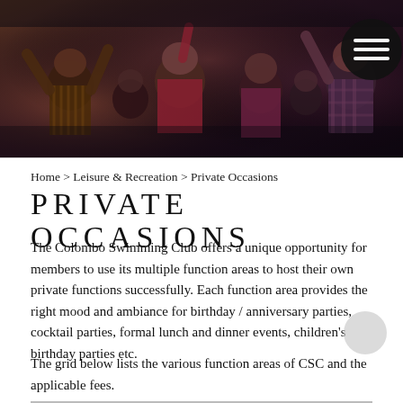[Figure (photo): A crowd of people at a party or social event, viewed from above/side angle. People are raising hands and mingling. Dark background with a hamburger menu icon (three horizontal white lines) in a black circle in the top right corner.]
Home > Leisure & Recreation > Private Occasions
PRIVATE OCCASIONS
The Colombo Swimming Club offers a unique opportunity for members to use its multiple function areas to host their own private functions successfully. Each function area provides the right mood and ambiance for birthday / anniversary parties, cocktail parties, formal lunch and dinner events, children's birthday parties etc.
The grid below lists the various function areas of CSC and the applicable fees.